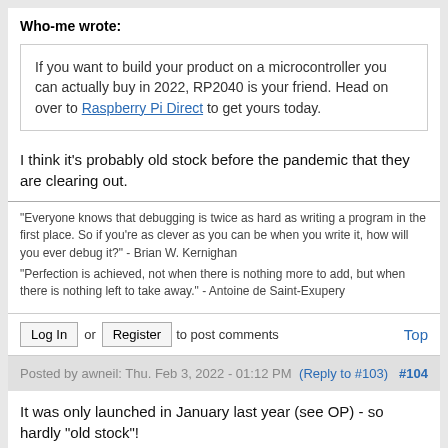Who-me wrote:
If you want to build your product on a microcontroller you can actually buy in 2022, RP2040 is your friend. Head on over to Raspberry Pi Direct to get yours today.
I think it's probably old stock before the pandemic that they are clearing out.
"Everyone knows that debugging is twice as hard as writing a program in the first place. So if you're as clever as you can be when you write it, how will you ever debug it?" - Brian W. Kernighan
"Perfection is achieved, not when there is nothing more to add, but when there is nothing left to take away." - Antoine de Saint-Exupery
Log In or Register to post comments    Top
Posted by awneil: Thu. Feb 3, 2022 - 01:12 PM (Reply to #103) #104
It was only launched in January last year (see OP) - so hardly "old stock"!
Top Tips:
1. How to properly post source code - see: https://www.avrfreaks.net/comment... - also how to properly include images/pictures